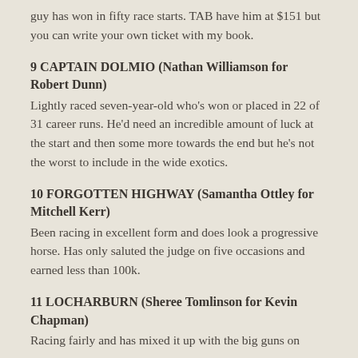guy has won in fifty race starts. TAB have him at $151 but you can write your own ticket with my book.
9 CAPTAIN DOLMIO (Nathan Williamson for Robert Dunn)
Lightly raced seven-year-old who's won or placed in 22 of 31 career runs. He'd need an incredible amount of luck at the start and then some more towards the end but he's not the worst to include in the wide exotics.
10 FORGOTTEN HIGHWAY (Samantha Ottley for Mitchell Kerr)
Been racing in excellent form and does look a progressive horse. Has only saluted the judge on five occasions and earned less than 100k.
11 LOCHARBURN (Sheree Tomlinson for Kevin Chapman)
Racing fairly and has mixed it up with the big guns on many an